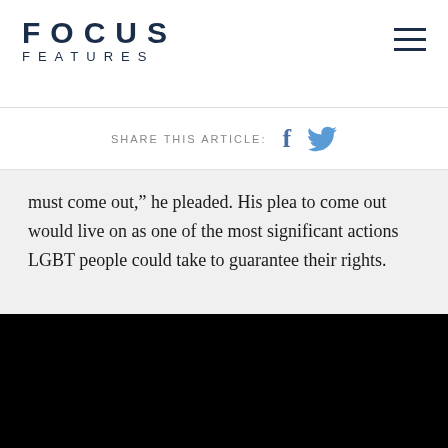FOCUS FEATURES
SHARE THIS ARTICLE:
must come out,” he pleaded. His plea to come out would live on as one of the most significant actions LGBT people could take to guarantee their rights.
[Figure (photo): Black image area at bottom of page]